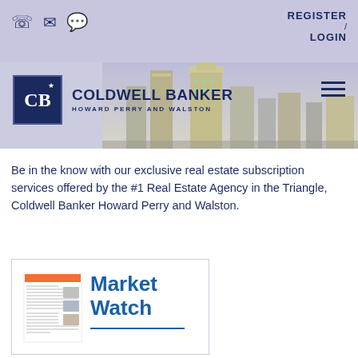REGISTER / LOGIN
[Figure (logo): Coldwell Banker Howard Perry and Walston logo with city skyline hero banner]
Be in the know with our exclusive real estate subscription services offered by the #1 Real Estate Agency in the Triangle, Coldwell Banker Howard Perry and Walston.
[Figure (screenshot): Market Watch card with thumbnail image of a listing report document and 'Market Watch' title in blue with blue underline]